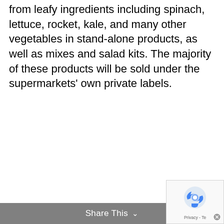from leafy ingredients including spinach, lettuce, rocket, kale, and many other vegetables in stand-alone products, as well as mixes and salad kits. The majority of these products will be sold under the supermarkets' own private labels.
Share This ∨